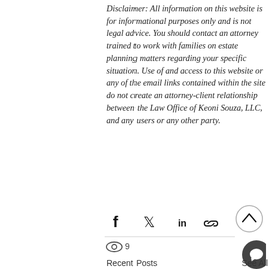Disclaimer: All information on this website is for informational purposes only and is not legal advice. You should contact an attorney trained to work with families on estate planning matters regarding your specific situation. Use of and access to this website or any of the email links contained within the site do not create an attorney-client relationship between the Law Office of Keoni Souza, LLC, and any users or any other party.
[Figure (infographic): Social share icons: Facebook, Twitter, LinkedIn, link/copy icon; an up-arrow circle button; a views count eye icon with '9'; a dark chat bubble button; Recent Posts and See All labels at bottom.]